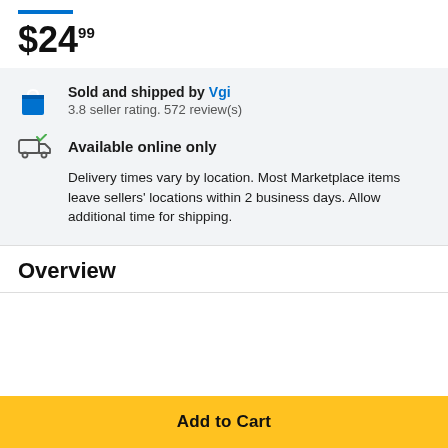$24.99
Sold and shipped by Vgi
3.8 seller rating. 572 review(s)
Available online only
Delivery times vary by location. Most Marketplace items leave sellers' locations within 2 business days. Allow additional time for shipping.
Overview
Add to Cart